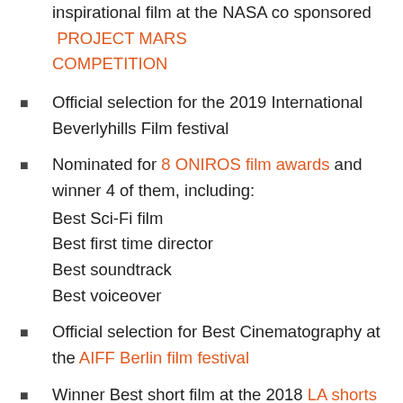inspirational film at the NASA co sponsored PROJECT MARS COMPETITION
Official selection for the 2019 International Beverlyhills Film festival
Nominated for 8 ONIROS film awards and winner 4 of them, including: Best Sci-Fi film Best first time director Best soundtrack Best voiceover
Official selection for Best Cinematography at the AIFF Berlin film festival
Winner Best short film at the 2018 LA shorts awards film